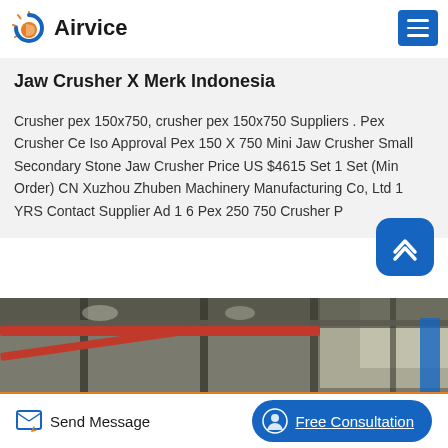Airvice
Jaw Crusher X Merk Indonesia
Crusher pex 150x750, crusher pex 150x750 Suppliers . Pex Crusher Ce Iso Approval Pex 150 X 750 Mini Jaw Crusher Small Secondary Stone Jaw Crusher Price US $4615 Set 1 Set (Min Order) CN Xuzhou Zhuben Machinery Manufacturing Co, Ltd 1 YRS Contact Supplier Ad 1 6 Pex 250 750 Crusher P…
[Figure (photo): Interior of a large industrial factory/warehouse with steel beams, overhead cranes with red beams, and machinery visible.]
Send Message | Free Consultation